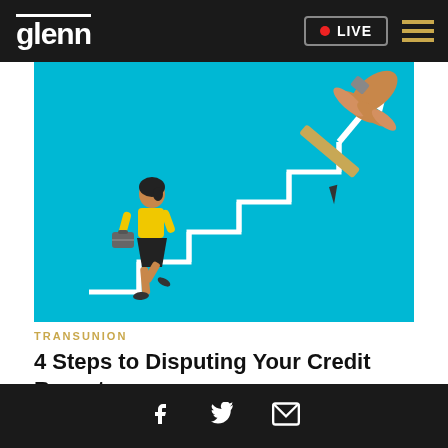glenn | LIVE
[Figure (illustration): Illustration of a woman in yellow top and black skirt carrying a briefcase, climbing white stair-steps on a teal/cyan background. A large hand holding a pencil draws an upward-trending arrow at the top of the stairs.]
TRANSUNION
4 Steps to Disputing Your Credit Report
Facebook | Twitter | Email icons